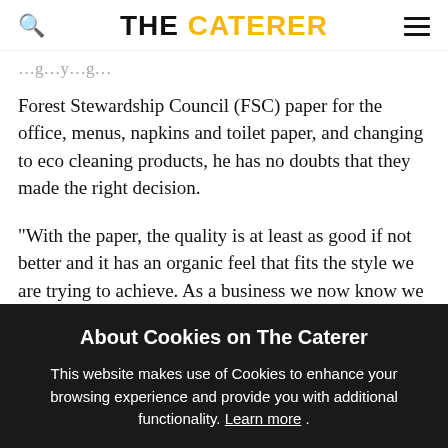THE CATERER
Forest Stewardship Council (FSC) paper for the office, menus, napkins and toilet paper, and changing to eco cleaning products, he has no doubts that they made the right decision.
"With the paper, the quality is at least as good if not better and it has an organic feel that fits the style we are trying to achieve. As a business we now know we
About Cookies on The Caterer
This website makes use of Cookies to enhance your browsing experience and provide you with additional functionality. Learn more .
ACCEPT